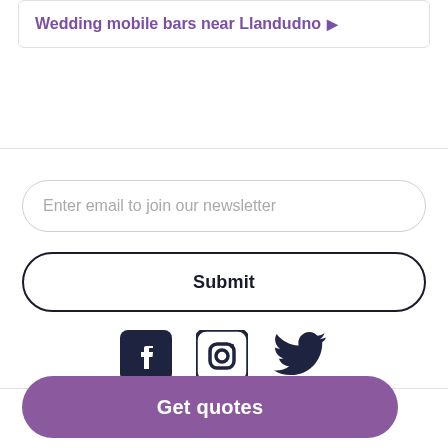Wedding mobile bars near Llandudno ▶
Enter email to join our newsletter
Submit
[Figure (illustration): Three social media icons: Facebook, Instagram, Twitter in dark navy color]
Get quotes